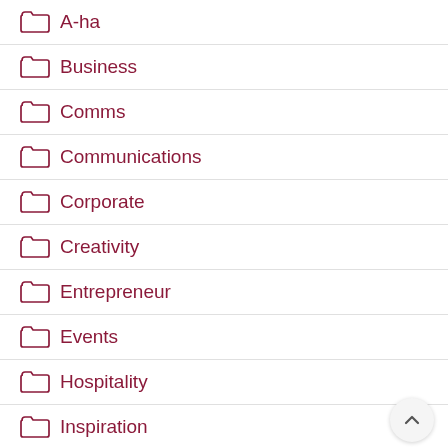A-ha
Business
Comms
Communications
Corporate
Creativity
Entrepreneur
Events
Hospitality
Inspiration